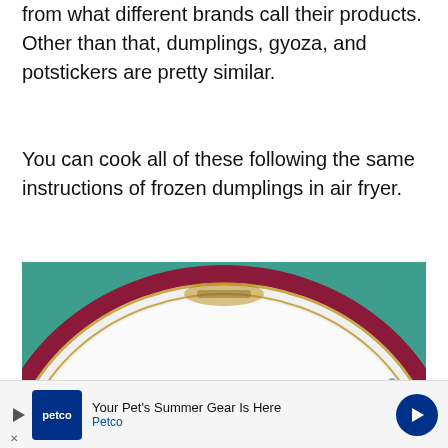from what different brands call their products. Other than that, dumplings, gyoza, and potstickers are pretty similar.
You can cook all of these following the same instructions of frozen dumplings in air fryer.
[Figure (photo): A decorative white plate with gold and dark red/maroon rim pattern, containing a small bowl of brown sauce, against a teal/green background.]
[Figure (other): Advertisement banner for Petco: 'Your Pet's Summer Gear Is Here' with Petco logo and navigation arrow.]